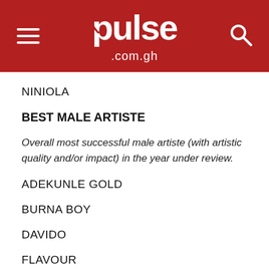[Figure (logo): Pulse.com.gh logo with red header bar, hamburger menu icon on left, search icon on right]
NINIOLA
BEST MALE ARTISTE
Overall most successful male artiste (with artistic quality and/or impact) in the year under review.
ADEKUNLE GOLD
BURNA BOY
DAVIDO
FLAVOUR